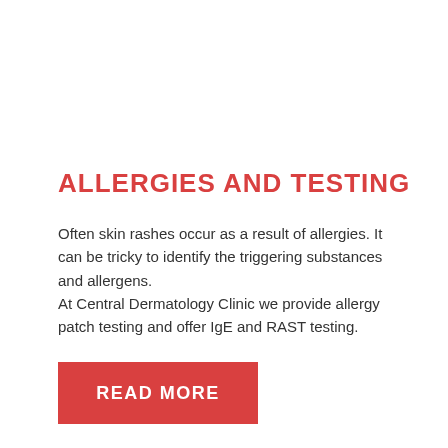ALLERGIES AND TESTING
Often skin rashes occur as a result of allergies. It can be tricky to identify the triggering substances and allergens.
At Central Dermatology Clinic we provide allergy patch testing and offer IgE and RAST testing.
READ MORE